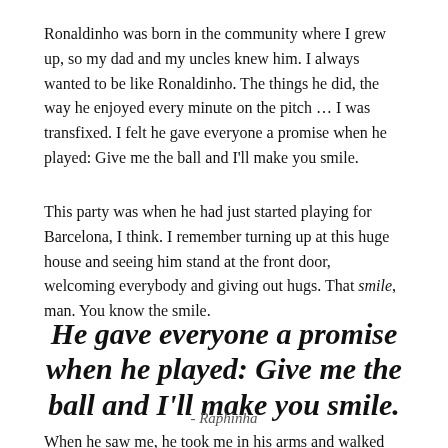Ronaldinho was born in the community where I grew up, so my dad and my uncles knew him. I always wanted to be like Ronaldinho. The things he did, the way he enjoyed every minute on the pitch … I was transfixed. I felt he gave everyone a promise when he played: Give me the ball and I'll make you smile.
This party was when he had just started playing for Barcelona, I think. I remember turning up at this huge house and seeing him stand at the front door, welcoming everybody and giving out hugs. That smile, man. You know the smile.
He gave everyone a promise when he played: Give me the ball and I'll make you smile.
- Raphinha
When he saw me, he took me in his arms and walked around with me. I froze. Didn't know how to react. But his charm can